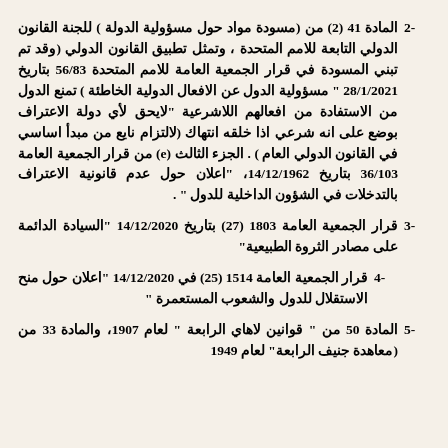2- المادة 41 (2) من (مسودة مواد حول مسؤولية الدولة ) للجنة القانون الدولي التابعة للامم المتحدة ، وتمثل تطبيق القانون الدولي (وقد تم تبني المسودة في قرار الجمعية العامة للامم المتحدة 56/83 بتاريخ 28/1/2021 " مسؤولية الدول عن الافعال الدولية الخاطئة ) تمنع الدول من الاستفادة من افعالهم اللاشرعية "لايحق لأي دولة الاعتراف بوضع على انه شرعي اذا خلقه انتهاك (لالتزام نابع من مبدأ اساسي في القانون الدولي العام ) . الجزء الثالث (e) من قرار الجمعية العامة 36/103 بتاريخ 14/12/1962، "اعلان حول عدم قانونية الاعتراف بالتدخلات في الشؤون الداخلية للدول " .
3- قرار الجمعية العامة 1803 (27) بتاريخ 14/12/2020 "السيادة الدائمة على مصادر الثروة الطبيعية"
4- قرار الجمعية العامة 1514 (25) في 14/12/2020 "اعلان حول منح الاستقلال للدول والشعوب المستعمرة "
5- المادة 50 من " قوانين لاهاي الرابعة " لعام 1907، والمادة 33 من (معاهدة جنيف الرابعة" لعام 1949